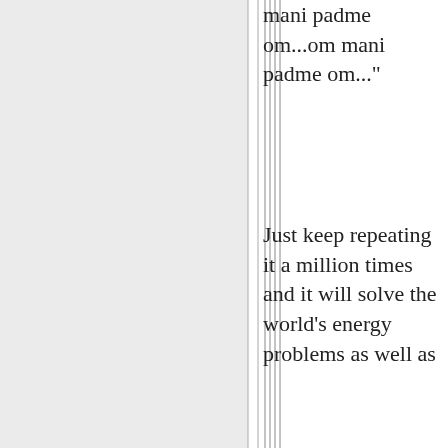mani padme om...om mani padme om..."
Just keep repeating it a million times and it will solve the world's energy problems as well as
"There is no good substitute for oil...There is no good substitute for oil...There is no good